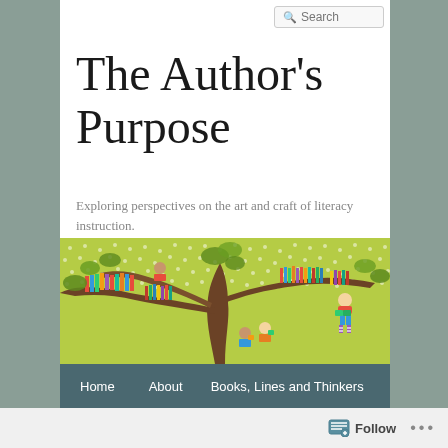Search
The Author's Purpose
Exploring perspectives on the art and craft of literacy instruction.
[Figure (illustration): Colorful illustrated banner showing a large tree with branches holding rows of colorful books, and children reading in and around the tree on a green dotted background.]
Home   About   Books, Lines and Thinkers
Follow   ...